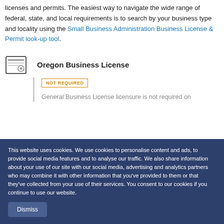To run your business legally, you must obtain applicable licenses and permits. The easiest way to navigate the wide range of federal, state, and local requirements is to search by your business type and locality using the Small Business Administration Business License & Permit look-up tool.
Oregon Business License
NOT REQUIRED
General Business License licensure is not required on
This website uses cookies. We use cookies to personalise content and ads, to provide social media features and to analyse our traffic. We also share information about your use of our site with our social media, advertising and analytics partners who may combine it with other information that you've provided to them or that they've collected from your use of their services. You consent to our cookies if you continue to use our website.
Dismiss